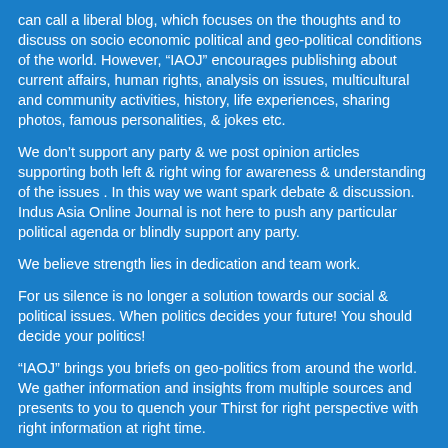can call a liberal blog, which focuses on the thoughts and to discuss on socio economic political and geo-political conditions of the world. However, “IAOJ” encourages publishing about current affairs, human rights, analysis on issues, multicultural and community activities, history, life experiences, sharing photos, famous personalities, & jokes etc.
We don’t support any party & we post opinion articles supporting both left & right wing for awareness & understanding of the issues . In this way we want spark debate & discussion. Indus Asia Online Journal is not here to push any particular political agenda or blindly support any party.
We believe strength lies in dedication and team work.
For us silence is no longer a solution towards our social & political issues. When politics decides your future! You should decide your politics!
“IAOJ” brings you briefs on geo-politics from around the world. We gather information and insights from multiple sources and presents to you to quench your Thirst for right perspective with right information at right time.